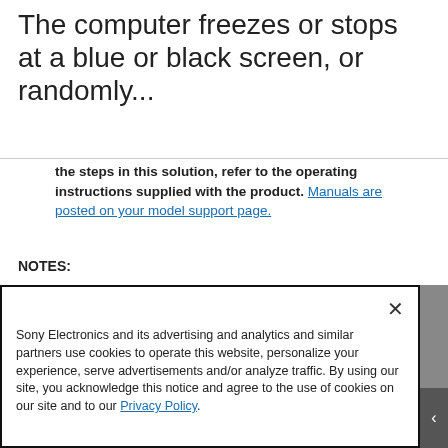The computer freezes or stops at a blue or black screen, or randomly...
the steps in this solution, refer to the operating instructions supplied with the product. Manuals are posted on your model support page.
NOTES:
Because each of these steps represents a possible solution to this issue, check the computer status after completing each step.
Sony Electronics and its advertising and analytics and similar partners use cookies to operate this website, personalize your experience, serve advertisements and/or analyze traffic. By using our site, you acknowledge this notice and agree to the use of cookies on our site and to our Privacy Policy.